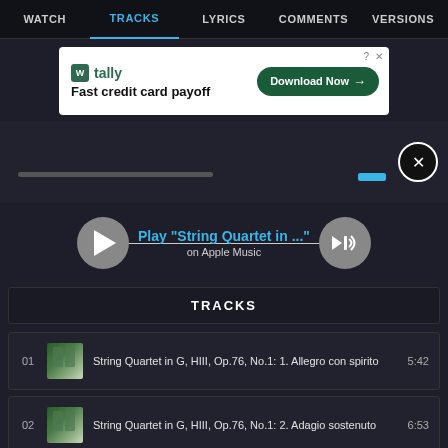WATCH | TRACKS | LYRICS | COMMENTS | VERSIONS
[Figure (screenshot): Tally app advertisement: 'Fast credit card payoff' with Download Now button]
[Figure (screenshot): Media player section with progress bar and close button]
[Figure (screenshot): Apple Music player controls: play button, 'Play "String Quartet in ..."' on Apple Music, volume button]
TRACKS
01  String Quartet in G, HIII, Op.76, No.1: 1. Allegro con spirito  5:42
02  String Quartet in G, HIII, Op.76, No.1: 2. Adagio sostenuto  6:53